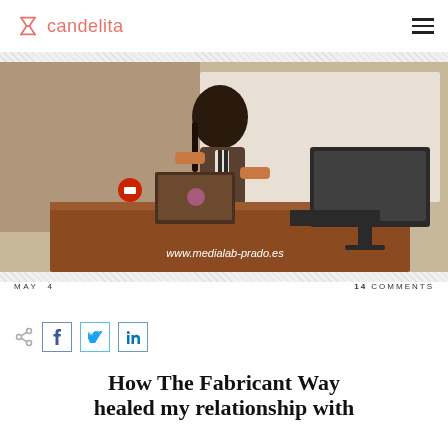candelita
[Figure (photo): Person with dark hair sitting at a wooden desk with a MacBook laptop and a desktop computer monitor. A presentation screen is visible in the background. The desk has a sign reading www.medialab-prado.es]
MAY 4   14 COMMENTS
[Figure (infographic): Social share icons: share symbol, Facebook, Twitter, LinkedIn buttons]
How The Fabricant Way healed my relationship with